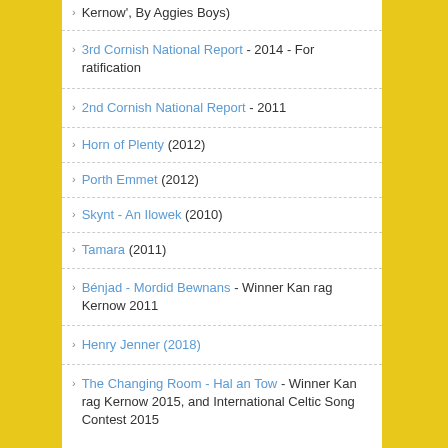Kernow', By Aggies Boys)
3rd Cornish National Report - 2014 - For ratification
2nd Cornish National Report - 2011
Horn of Plenty (2012)
Porth Emmet (2012)
Skynt - An Ilowek (2010)
Tamara (2011)
Bénjad - Mordid Bewnans - Winner Kan rag Kernow 2011
Henry Jenner (2018)
The Changing Room - Hal an Tow - Winner Kan rag Kernow 2015, and International Celtic Song Contest 2015